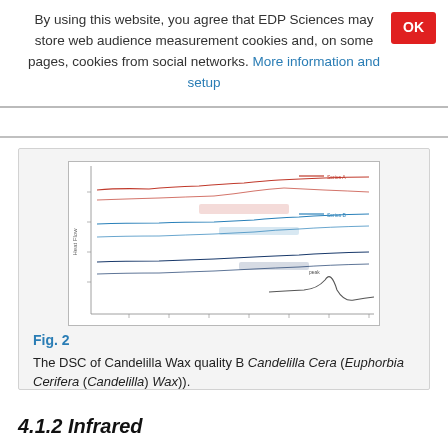By using this website, you agree that EDP Sciences may store web audience measurement cookies and, on some pages, cookies from social networks. More information and setup
[Figure (continuous-plot): DSC (Differential Scanning Calorimetry) thermogram of Candelilla Wax quality B, showing multiple overlapping heat flow curves in red and blue at various temperature ranges. The chart has a y-axis (heat flow) and x-axis (temperature), with several labeled peaks and curves.]
Fig. 2
The DSC of Candelilla Wax quality B Candelilla Cera (Euphorbia Cerifera (Candelilla) Wax)).
4.1.2 Infrared